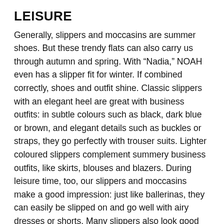LEISURE
Generally, slippers and moccasins are summer shoes. But these trendy flats can also carry us through autumn and spring. With “Nadia,” NOAH even has a slipper fit for winter. If combined correctly, shoes and outfit shine. Classic slippers with an elegant heel are great with business outfits: in subtle colours such as black, dark blue or brown, and elegant details such as buckles or straps, they go perfectly with trouser suits. Lighter coloured slippers complement summery business outfits, like skirts, blouses and blazers. During leisure time, too, our slippers and moccasins make a good impression: just like ballerinas, they can easily be slipped on and go well with airy dresses or shorts. Many slippers also look good with leggings and skinny jeans – perfect for all, who prefer longer legwear. You will surely catch an eye or two if you